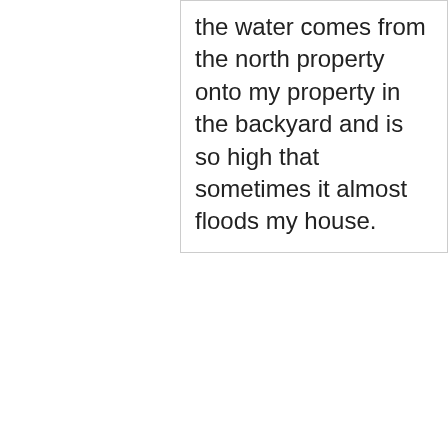the water comes from the north property onto my property in the backyard and is so high that sometimes it almost floods my house.
open #169153 Drainage or Runoff 47404,